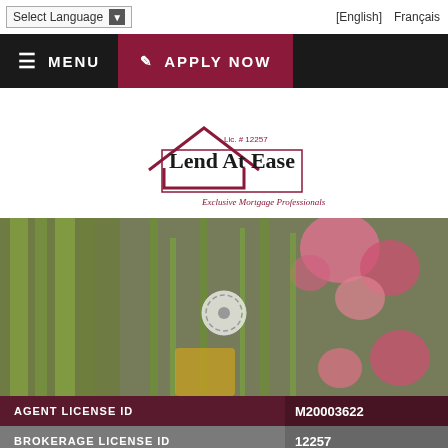Select Language ▼   [English]   Français
[Figure (logo): Lend At Ease logo with house outline and text 'Exclusive Mortgage Professionals', Lic. # 12257]
[Figure (photo): Photograph of pink flowers and green plants, with a circular target/play icon overlay in the center]
|  |  |
| --- | --- |
| AGENT LICENSE ID | M20003622 |
| BROKERAGE LICENSE ID | 12257 |